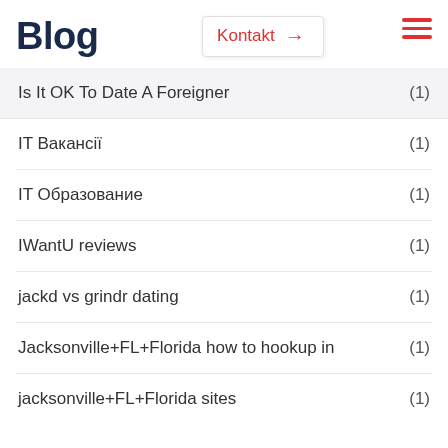Blog
Kontakt →
Is It OK To Date A Foreigner (1)
IT Вакансії (1)
IT Образование (1)
IWantU reviews (1)
jackd vs grindr dating (1)
Jacksonville+FL+Florida how to hookup in (1)
jacksonville+FL+Florida sites (1)